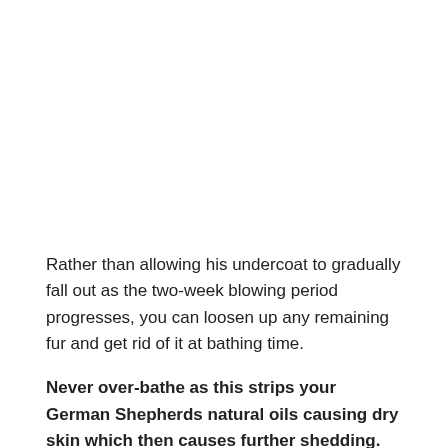Rather than allowing his undercoat to gradually fall out as the two-week blowing period progresses, you can loosen up any remaining fur and get rid of it at bathing time.
Never over-bathe as this strips your German Shepherds natural oils causing dry skin which then causes further shedding.